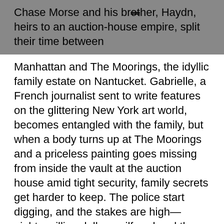Chase Morse and his brother, Haydn, heirs to an auction-house empire, split their time between
Manhattan and The Moorings, the idyllic family estate on Nantucket. Gabrielle, a French journalist sent to write features on the glittering New York art world, becomes entangled with the family, but when a body turns up at The Moorings and a priceless painting goes missing from inside the vault at the auction house amid tight security, family secrets get harder to keep. The police start digging, and the stakes are high—eighty million dollars, pilfered and then lost in risky Russian investments. Can an entitled one-percenter with expansive resources, enlisting the help of a wily art forger, outsmart the art cops and the old guard within the company?
The glittering, exalted world of art auctioning hides